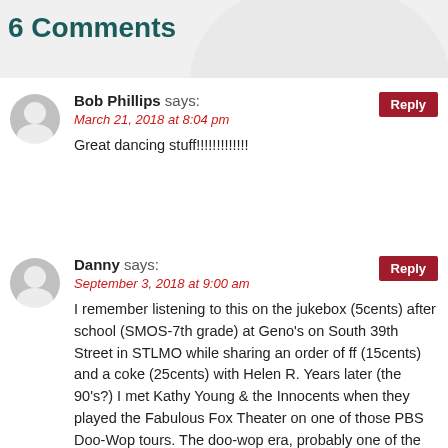6 Comments
Bob Phillips says:
March 21, 2018 at 8:04 pm
Great dancing stuff!!!!!!!!!!!!!
Danny says:
September 3, 2018 at 9:00 am
I remember listening to this on the jukebox (5cents) after school (SMOS-7th grade) at Geno's on South 39th Street in STLMO while sharing an order of ff (15cents) and a coke (25cents) with Helen R. Years later (the 90's?) I met Kathy Young & the Innocents when they played the Fabulous Fox Theater on one of those PBS Doo-Wop tours. The doo-wop era, probably one of the best